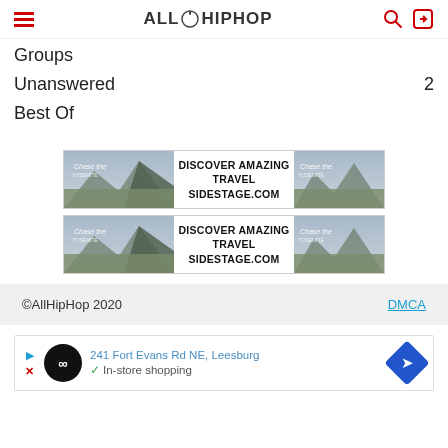AllHipHop
Groups
Unanswered  2
Best Of
[Figure (screenshot): Two travel advertisement banners for sidestage.com with Yosemite mountain imagery and text DISCOVER AMAZING TRAVEL SIDESTAGE.COM]
©AllHipHop 2020   DMCA
[Figure (screenshot): Bottom advertisement strip showing 241 Fort Evans Rd NE Leesburg with infinity logo and navigation arrow icon, In-store shopping text]